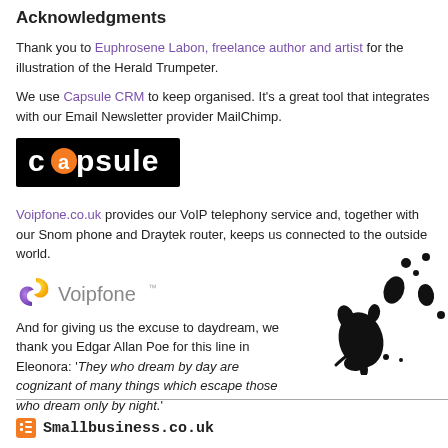Acknowledgments
Thank you to Euphrosene Labon, freelance author and artist for the illustration of the Herald Trumpeter.
We use Capsule CRM to keep organised. It's a great tool that integrates with our Email Newsletter provider MailChimp.
[Figure (logo): Capsule CRM logo — white text on black background reading 'capsule' with orange circular letter 'a']
Voipfone.co.uk provides our VoIP telephony service and, together with our Snom phone and Draytek router, keeps us connected to the outside world.
[Figure (logo): Voipfone logo with purple/yellow swirl icon and grey text 'Voipfone']
And for giving us the excuse to daydream, we thank you Edgar Allan Poe for this line in Eleonora: 'They who dream by day are cognizant of many things which escape those who dream only by night.'
Smallbusiness.co.uk